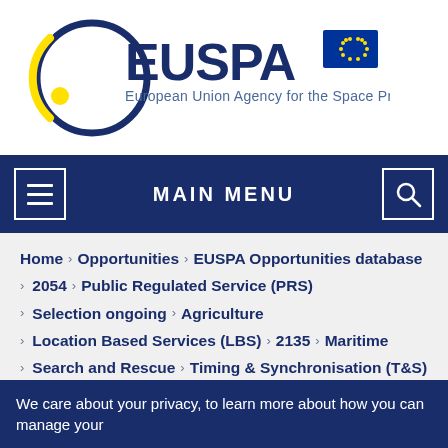[Figure (logo): EUSPA logo — European Union Agency for the Space Programme with EU flag]
MAIN MENU
Home > Opportunities > EUSPA Opportunities database
> 2054 > Public Regulated Service (PRS)
> Selection ongoing > Agriculture
> Location Based Services (LBS) > 2135 > Maritime
> Search and Rescue > Timing & Synchronisation (T&S)
We care about your privacy, to learn more about how you can manage your